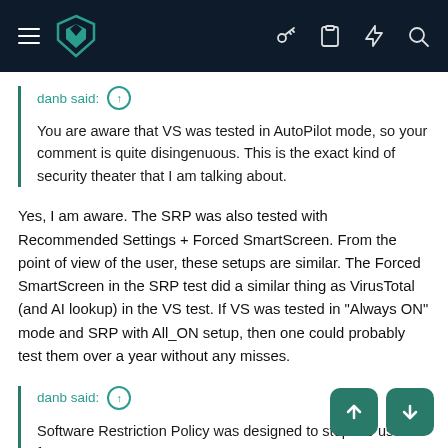Navigation bar with logo and icons
danb said: ↑
You are aware that VS was tested in AutoPilot mode, so your comment is quite disingenuous. This is the exact kind of security theater that I am talking about.
Yes, I am aware. The SRP was also tested with Recommended Settings + Forced SmartScreen. From the point of view of the user, these setups are similar. The Forced SmartScreen in the SRP test did a similar thing as VirusTotal (and AI lookup) in the VS test. If VS was tested in "Always ON" mode and SRP with All_ON setup, then one could probably test them over a year without any misses.
danb said: ↑
Software Restriction Policy was designed to stop the user from